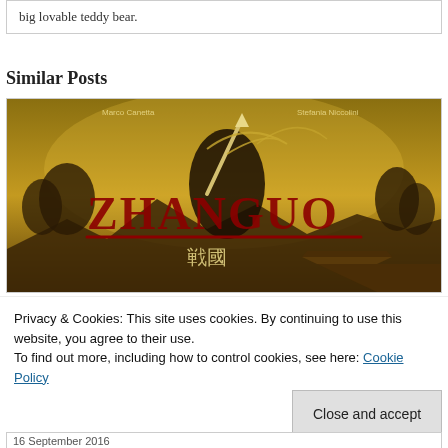big lovable teddy bear.
Similar Posts
[Figure (illustration): Book/game cover for 'Zhanguo' showing a Chinese warrior holding a weapon against a golden background, with Chinese characters and the names Marco Canetta and Stefania Niccolini at the top.]
Privacy & Cookies: This site uses cookies. By continuing to use this website, you agree to their use.
To find out more, including how to control cookies, see here: Cookie Policy
Close and accept
16 September 2016